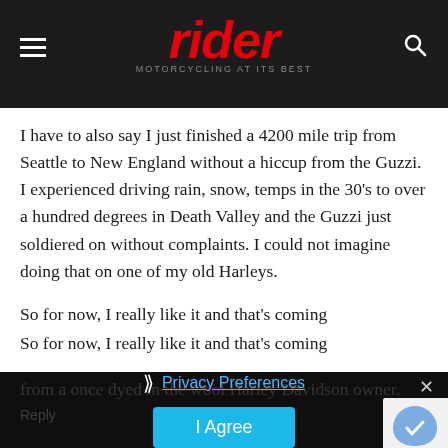rider — MOTORCYCLING AT ITS BEST
I have to also say I just finished a 4200 mile trip from Seattle to New England without a hiccup from the Guzzi. I experienced driving rain, snow, temps in the 30’s to over a hundred degrees in Death Valley and the Guzzi just soldiered on without complaints. I could not imagine doing that on one of my old Harleys.
So for now, I really like it and that’s coming from a once dyed in the wool Harley Davidson owner.
Reply
Privacy Preferences
I Agree
James Hadden